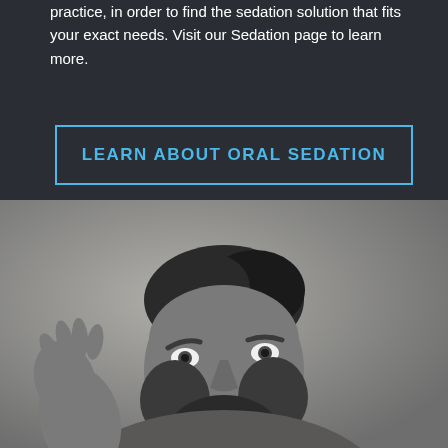practice, in order to find the sedation solution that fits your exact needs. Visit our Sedation page to learn more.
LEARN ABOUT ORAL SEDATION
[Figure (photo): Black and white photo of a bearded man smiling and laughing with his hand raised, against a grey background]